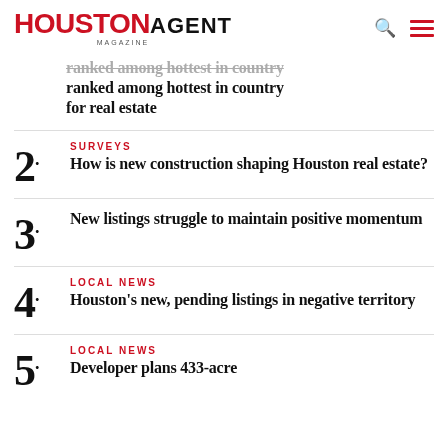HOUSTON AGENT MAGAZINE
ranked among hottest in country for real estate
2. SURVEYS — How is new construction shaping Houston real estate?
3. New listings struggle to maintain positive momentum
4. LOCAL NEWS — Houston's new, pending listings in negative territory
5. LOCAL NEWS — Developer plans 433-acre